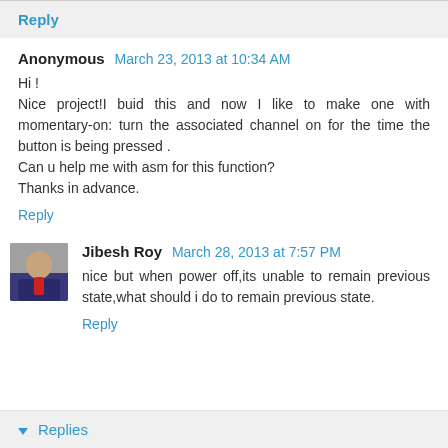Reply
Anonymous March 23, 2013 at 10:34 AM
Hi !
Nice project!I buid this and now I like to make one with momentary-on: turn the associated channel on for the time the button is being pressed .
Can u help me with asm for this function?
Thanks in advance.
Reply
Jibesh Roy March 28, 2013 at 7:57 PM
nice but when power off,its unable to remain previous state,what should i do to remain previous state.
Reply
Replies